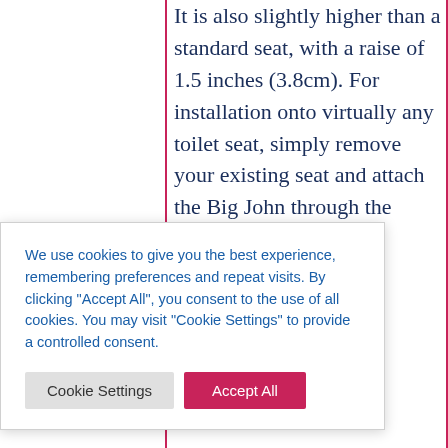It is also slightly higher than a standard seat, with a raise of 1.5 inches (3.8cm). For installation onto virtually any toilet seat, simply remove your existing seat and attach the Big John through the using the ncluded. standard mpers create a y larger, heavier or bariatric users
We use cookies to give you the best experience, remembering preferences and repeat visits. By clicking “Accept All”, you consent to the use of all cookies. You may visit "Cookie Settings" to provide a controlled consent.